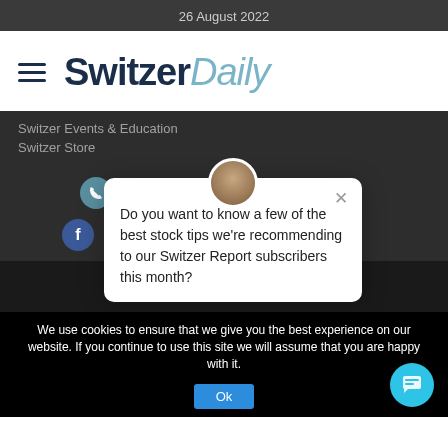26 August 2022
[Figure (logo): Switzer Daily logo with hamburger menu icon]
Switzer Events & Education
Switzer Store
1300 794 893
[Figure (screenshot): Social media icons (Facebook, Instagram) on dark background]
Swit
Do you want to know a few of the best stock tips we're recommending to our Switzer Report subscribers this month?
We use cookies to ensure that we give you the best experience on our website. If you continue to use this site we will assume that you are happy with it.